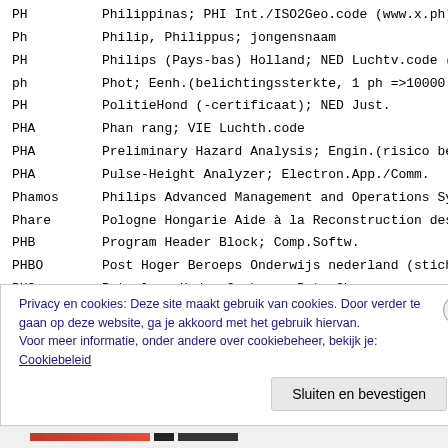| Abbreviation | Definition |
| --- | --- |
| PH | Philippinas; PHI Int./ISO2Geo.code (www.x.ph) |
| Ph | Philip, Philippus; jongensnaam |
| PH | Philips (Pays-bas) Holland; NED Luchtv.code (van... |
| ph | Phot; Eenh.(belichtingssterkte, 1 ph =>10000 lx ... |
| PH | PolitieHond (-certificaat); NED Just. |
| PHA | Phan rang; VIE Luchth.code |
| PHA | Preliminary Hazard Analysis; Engin.(risico beoor... |
| PHA | Pulse-Height Analyzer; Electron.App./Comm. |
| Phamos | Philips Advanced Management and Operations Syste... |
| Phare | Pologne Hongarie Aide à la Reconstruction des Ec... |
| PHB | Program Header Block; Comp.Softw. |
| PHBO | Post Hoger Beroeps Onderwijs nederland (stichting... |
| PHC | Petroleum Hydro-Carbons; PetroChem. |
| PHC | Port Harcourt (Omagwa); NGR Luchth.code |
Privacy en cookies: Deze site maakt gebruik van cookies. Door verder te gaan op deze website, ga je akkoord met het gebruik hiervan. Voor meer informatie, onder andere over cookiebeheer, bekijk je: Cookiebeleid
Sluiten en bevestigen